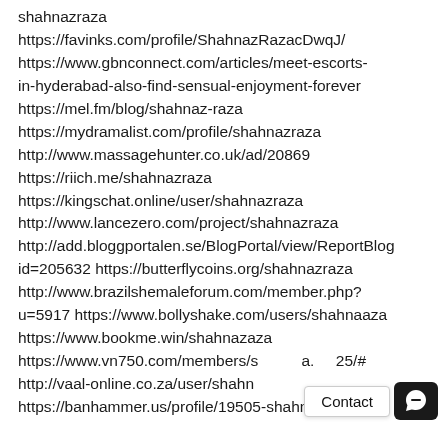shahnazraza https://favinks.com/profile/ShahnazRazacDwqJ/ https://www.gbnconnect.com/articles/meet-escorts-in-hyderabad-also-find-sensual-enjoyment-forever https://mel.fm/blog/shahnaz-raza https://mydramalist.com/profile/shahnazraza http://www.massagehunter.co.uk/ad/20869 https://riich.me/shahnazraza https://kingschat.online/user/shahnazraza http://www.lancezero.com/project/shahnazraza http://add.bloggportalen.se/BlogPortal/view/ReportBlog id=205632 https://butterflycoins.org/shahnazraza http://www.brazilshemaleforum.com/member.php?u=5917 https://www.bollyshake.com/users/shahnaaza https://www.bookme.win/shahnazaza https://www.vn750.com/members/s a. 25/# http://vaal-online.co.za/user/shahn https://banhammer.us/profile/19505-shahnazraza/?